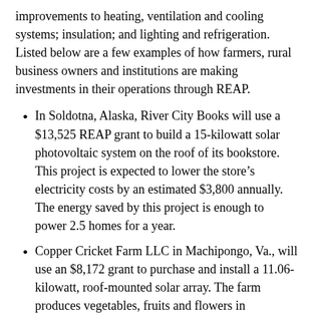improvements to heating, ventilation and cooling systems; insulation; and lighting and refrigeration. Listed below are a few examples of how farmers, rural business owners and institutions are making investments in their operations through REAP.
In Soldotna, Alaska, River City Books will use a $13,525 REAP grant to build a 15-kilowatt solar photovoltaic system on the roof of its bookstore. This project is expected to lower the store's electricity costs by an estimated $3,800 annually. The energy saved by this project is enough to power 2.5 homes for a year.
Copper Cricket Farm LLC in Machipongo, Va., will use an $8,172 grant to purchase and install a 11.06-kilowatt, roof-mounted solar array. The farm produces vegetables, fruits and flowers in Northampton County, Va. This project will make the farm energy self-